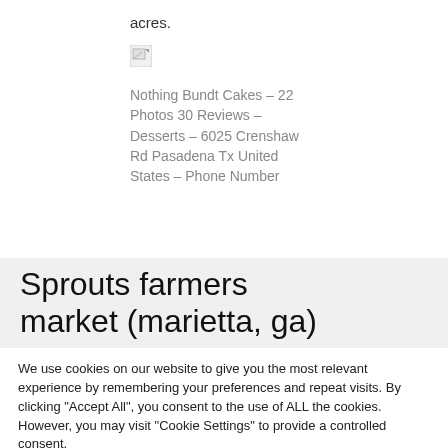acres.
[Figure (illustration): Broken image placeholder icon (small gray rectangle with border)]
Nothing Bundt Cakes – 22 Photos 30 Reviews – Desserts – 6025 Crenshaw Rd Pasadena Tx United States – Phone Number
Sprouts farmers market (marietta, ga)
We use cookies on our website to give you the most relevant experience by remembering your preferences and repeat visits. By clicking "Accept All", you consent to the use of ALL the cookies. However, you may visit "Cookie Settings" to provide a controlled consent.